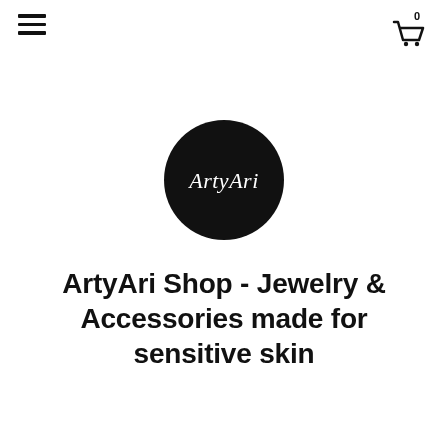[Figure (logo): Hamburger menu icon (three horizontal bars) in the top-left corner]
[Figure (logo): Shopping cart icon with a count of 0 in the top-right corner]
[Figure (logo): ArtyAri circular logo — black circle with 'ArtyAri' written in white cursive font]
ArtyAri Shop - Jewelry & Accessories made for sensitive skin